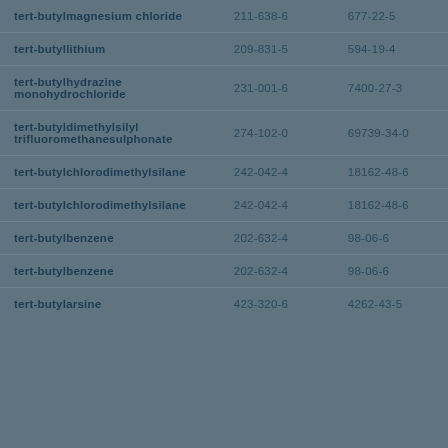| tert-butylmagnesium chloride | 211-638-6 | 677-22-5 |
| tert-butyllithium | 209-831-5 | 594-19-4 |
| tert-butylhydrazine monohydrochloride | 231-001-6 | 7400-27-3 |
| tert-butyldimethylsilyl trifluoromethanesulphonate | 274-102-0 | 69739-34-0 |
| tert-butylchlorodimethylsilane | 242-042-4 | 18162-48-6 |
| tert-butylchlorodimethylsilane | 242-042-4 | 18162-48-6 |
| tert-butylbenzene | 202-632-4 | 98-06-6 |
| tert-butylbenzene | 202-632-4 | 98-06-6 |
| tert-butylarsine | 423-320-6 | 4262-43-5 |